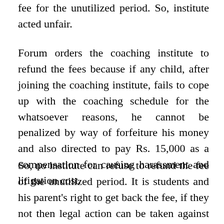fee for the unutilized period. So, institute acted unfair.
Forum orders the coaching institute to refund the fees because if any child, after joining the coaching institute, fails to cope up with the coaching schedule for the whatsoever reasons, he cannot be penalized by way of forfeiture his money and also directed to pay Rs. 15,000 as a compensation for causing harassment and litigation cost.
So, no institute can refuse to refund the fee of the unutilized period. It is students and his parent's right to get back the fee, if they not then legal action can be taken against them.